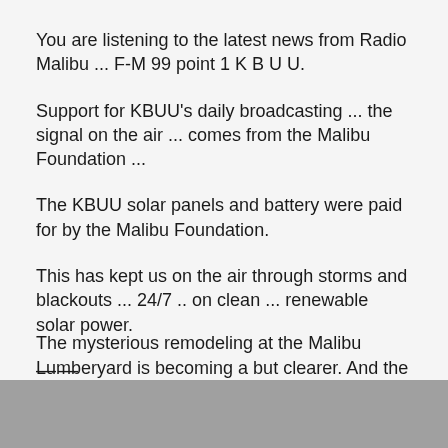You are listening to the latest news from Radio Malibu ... F-M 99 point 1 K B U U.
Support for KBUU's daily broadcasting ... the signal on the air ... comes from the Malibu Foundation ...
The KBUU solar panels and battery were paid for by the Malibu Foundation.
This has kept us on the air through storms and blackouts ... 24/7 .. on clean ... renewable solar power.
——
The mysterious remodeling at the Malibu Lumberyard is becoming a but clearer.  And the [cut off]